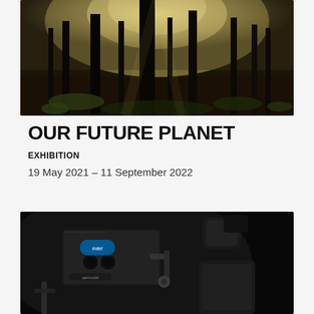[Figure (photo): Forest scene with tall dark tree trunks, misty golden light filtering through trees, green and brown forest floor with leaves and small plants]
OUR FUTURE PLANET
EXHIBITION
19 May 2021 – 11 September 2022
[Figure (photo): Close-up of an Intel RealSense camera/sensor mounted on a Permobil wheelchair arm, dark background, black equipment visible including headrest and seat]